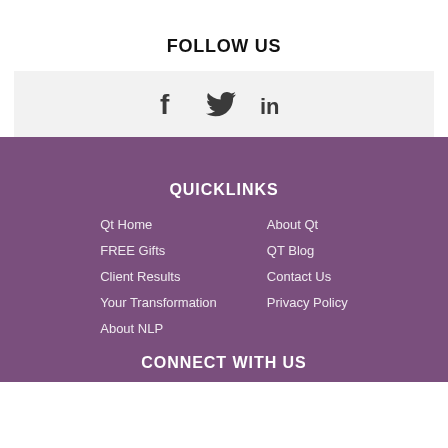FOLLOW US
[Figure (illustration): Social media icons: Facebook (f), Twitter (bird), LinkedIn (in) on a light grey background bar]
QUICKLINKS
Qt Home
FREE Gifts
Client Results
Your Transformation
About NLP
About Qt
QT Blog
Contact Us
Privacy Policy
CONNECT WITH US